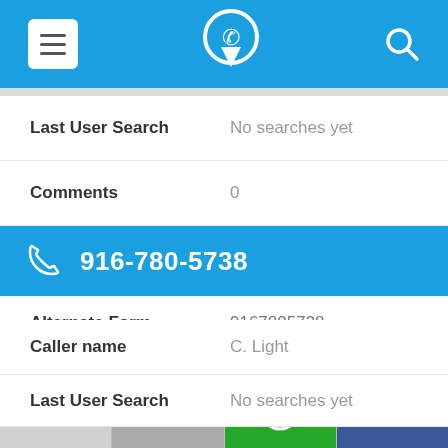[Figure (screenshot): Top navigation bar with menu (hamburger) icon on the left, phone locator logo in the center, and search icon on the right, blue background]
Last User Search    No searches yet
Comments    0
916-780-5738
Alternate Form    9167805738
Caller name    C. Light
Last User Search    No searches yet
[Figure (screenshot): Bottom action bar with four buttons: Shares (light gray), email icon (gray), WhatsApp icon (green), Facebook icon (dark blue)]